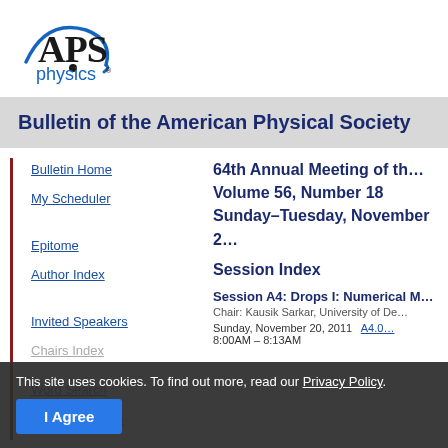[Figure (logo): APS Physics logo — blue arc/swoosh around large 'APS' letters with 'physics' in blue below]
Bulletin of the American Physical Society
Bulletin Home
My Scheduler
Epitome
Author Index
Invited Speakers
64th Annual Meeting of th…
Volume 56, Number 18
Sunday–Tuesday, November 2…
Session Index
Session A4: Drops I: Numerical M…
Chair: Kausik Sarkar, University of De…
Sunday, November 20, 2011
8:00AM – 8:13AM
This site uses cookies. To find out more, read our Privacy Policy.